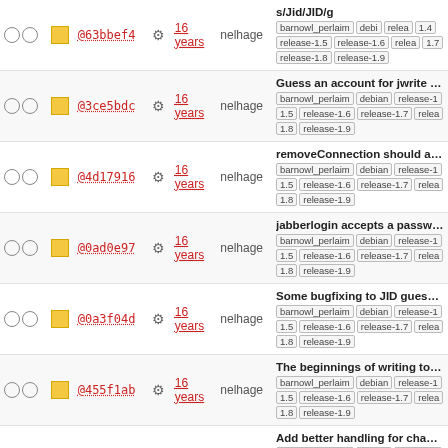|  |  | hash |  | age | author | description |
| --- | --- | --- | --- | --- | --- | --- |
| ○ ○ | □ | @63bbef4 | ⚙ | 16 years | nelhage | s/Jid/JID/g | barnowl_perlaim | debian | release-1.4 | release-1.5 | release-1.6 | release-1.7 | release-1.8 | release-1.9 |
| ○ ○ | □ | @3ce5bdc | ⚙ | 16 years | nelhage | Guess an account for jwrite based on whether the JID is in one of you... | barnowl_perlaim | debian | release-1.5 | release-1.6 | release-1.7 | release-1.8 | release-1.9 |
| ○ ○ | □ | @4d17916 | ⚙ | 16 years | nelhage | removeConnection should actually remove the connection, even if ... | barnowl_perlaim | debian | release-1.5 | release-1.6 | release-1.7 | release-1.8 | release-1.9 |
| ○ ○ | □ | @0ad0e97 | ⚙ | 16 years | nelhage | jabberlogin accepts a password... | barnowl_perlaim | debian | release-1.5 | release-1.6 | release-1.7 | release-1.8 | release-1.9 |
| ○ ○ | □ | @0a3f04d | ⚙ | 16 years | nelhage | Some bugfixing to JID guessing... | barnowl_perlaim | debian | release-1.5 | release-1.6 | release-1.7 | release-1.8 | release-1.9 |
| ○ ○ | □ | @455f1ab | ⚙ | 16 years | nelhage | The beginnings of writing to sho... | barnowl_perlaim | debian | release-1.5 | release-1.6 | release-1.7 | release-1.8 | release-1.9 |
| ○ ○ | □ | @17b7fc5 | ⚙ | 16 years | asedeno | Add better handling for changing in the roster. | barnowl_perlaim | debian | release-1.5 | release-1.6 | release-1.7 | release-1.8 | release-1.9 |
| ○ ○ | □ | @1d0503b | ⚙ | 16 years | asedeno | Fixing the jwrite from gtalk bug setting the from attribute ... |